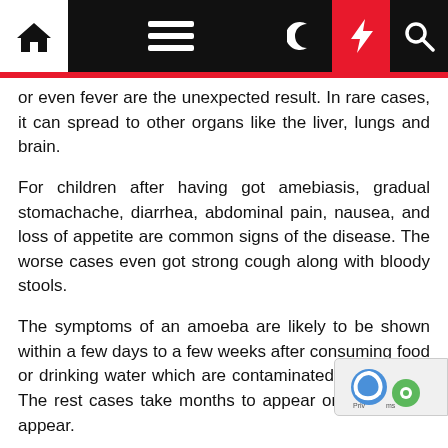Navigation bar with home, menu, dark mode, lightning/flash, and search icons
or even fever are the unexpected result. In rare cases, it can spread to other organs like the liver, lungs and brain.
For children after having got amebiasis, gradual stomachache, diarrhea, abdominal pain, nausea, and loss of appetite are common signs of the disease. The worse cases even got strong cough along with bloody stools.
The symptoms of an amoeba are likely to be shown within a few days to a few weeks after consuming food or drinking water which are contaminated by amoeba. The rest cases take months to appear or even never appear.
Who is likely to be suffered from amebiasis?